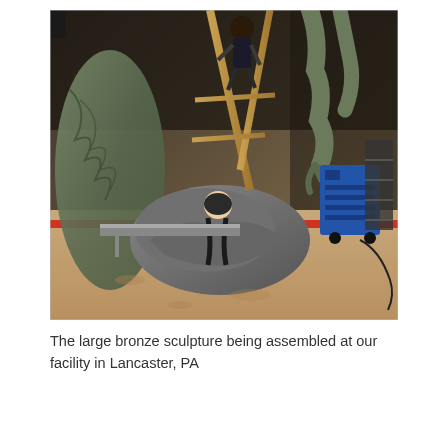[Figure (photo): A large bronze sculpture being assembled inside an industrial warehouse facility. Multiple large dinosaur-like or creature figures are visible in various stages of assembly. Workers can be seen climbing on scaffolding among the sculptures. The scene shows an industrial floor with sandy/dirt surface and various equipment including a blue machine in the background.]
The large bronze sculpture being assembled at our facility in Lancaster, PA